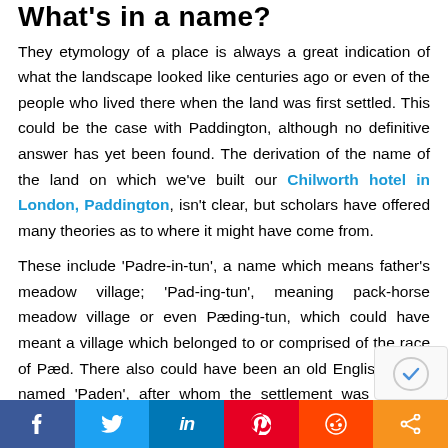What's in a name?
They etymology of a place is always a great indication of what the landscape looked like centuries ago or even of the people who lived there when the land was first settled. This could be the case with Paddington, although no definitive answer has yet been found. The derivation of the name of the land on which we've built our Chilworth hotel in London, Paddington, isn't clear, but scholars have offered many theories as to where it might have come from.
These include ‘Padre-in-tun’, a name which means father’s meadow village; ‘Pad-ing-tun’, meaning pack-horse meadow village or even Pæding-tun, which could have meant a village which belonged to or comprised of the race of Pæd. There also could have been an old English family named ‘Paden’, after whom the settlement was named. Evidence for this co...
[Figure (other): Social share bar with Facebook, Twitter, LinkedIn, Pinterest, Reddit, and share buttons]